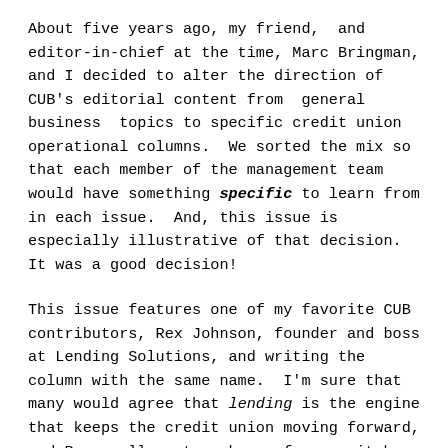About five years ago, my friend, and editor-in-chief at the time, Marc Bringman, and I decided to alter the direction of CUB's editorial content from general business topics to specific credit union operational columns. We sorted the mix so that each member of the management team would have something specific to learn from in each issue. And, this issue is especially illustrative of that decision. It was a good decision!
This issue features one of my favorite CUB contributors, Rex Johnson, founder and boss at Lending Solutions, and writing the column with the same name. I'm sure that many would agree that lending is the engine that keeps the credit union moving forward, and Rex really puts a human face on it by giving solid examples of real people with real problems seeking real solutions! Rex suggests some very real ways to help your member increase their